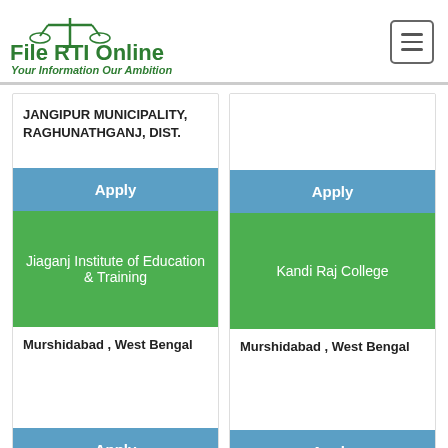[Figure (logo): File RTI Online logo with scales of justice icon and tagline 'Your Information Our Ambition']
JANGIPUR MUNICIPALITY, RAGHUNATHGANJ, DIST.
Apply
Apply
Jiaganj Institute of Education & Training
Kandi Raj College
Murshidabad , West Bengal
Murshidabad , West Bengal
Apply
Apply
Krishnanath College
Lalgola College